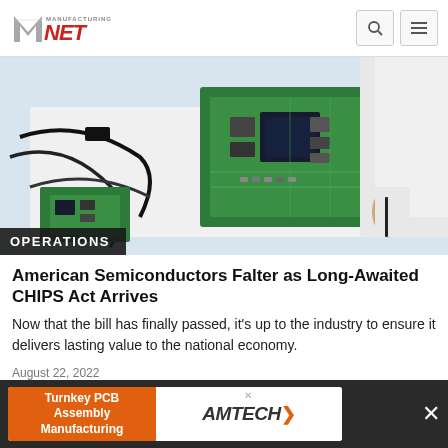Manufacturing.NET
[Figure (photo): Technician in white lab coat working on a green circuit board/PCB with electronic components on a white workbench, with various cables and equipment visible]
OPERATIONS
American Semiconductors Falter as Long-Awaited CHIPS Act Arrives
Now that the bill has finally passed, it's up to the industry to ensure it delivers lasting value to the national economy.
August 22, 2022
[Figure (infographic): Advertisement banner: Turnkey PCB Assembly Manufacturing - AMTECH]